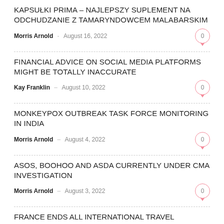KAPSUŁKI PRIMA – NAJLEPSZY SUPLEMENT NA ODCHUDZANIE Z TAMARYNDOWCEM MALABARSKIM
Morris Arnold – August 16, 2022
FINANCIAL ADVICE ON SOCIAL MEDIA PLATFORMS MIGHT BE TOTALLY INACCURATE
Kay Franklin – August 10, 2022
MONKEYPOX OUTBREAK TASK FORCE MONITORING IN INDIA
Morris Arnold – August 4, 2022
ASOS, BOOHOO AND ASDA CURRENTLY UNDER CMA INVESTIGATION
Morris Arnold – August 3, 2022
FRANCE ENDS ALL INTERNATIONAL TRAVEL